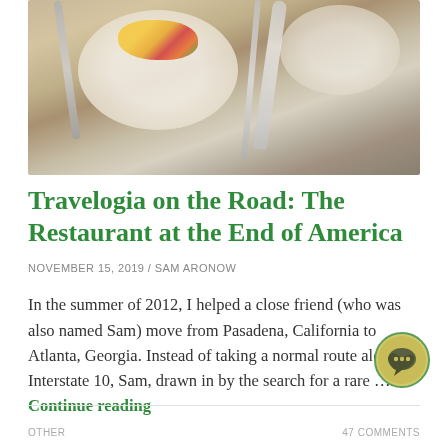[Figure (photo): Close-up photo of a restaurant table setting with plates, food, fork, knife, and spoon]
Travelogia on the Road: The Restaurant at the End of America
NOVEMBER 15, 2019 / SAM ARONOW
In the summer of 2012, I helped a close friend (who was also named Sam) move from Pasadena, California to Atlanta, Georgia. Instead of taking a normal route along Interstate 10, Sam, drawn in by the search for a rare … Continue reading
[Figure (illustration): Chat bubble icon button in bottom right corner, circular with olive/yellow background and dark speech bubble icon]
OTHER
47 COMMENTS